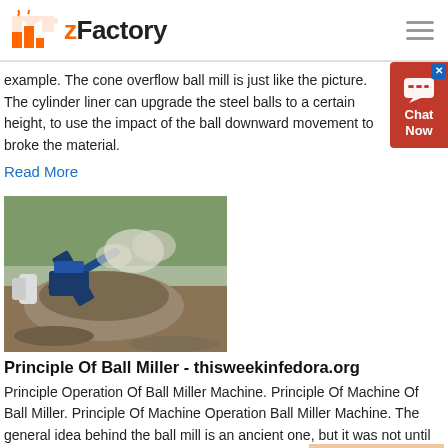zFactory
example. The cone overflow ball mill is just like the picture. The cylinder liner can upgrade the steel balls to a certain height, to use the impact of the ball downward movement to broke the material.
Read More
[Figure (photo): Industrial ball milling machine or crushers at an outdoor construction/mining site with piles of gravel and dust/smoke visible]
Principle Of Ball Miller - thisweekinfedora.org
Principle Operation Of Ball Miller Machine. Principle Of Machine Of Ball Miller. Principle Of Machine Operation Ball Miller Machine. The general idea behind the ball mill is an ancient one, but it was not until the industrial revolution and the invention of steam power that an effective ball milling machine could be builtt is reported to have been used for grinding flint for pottery in ...
Read More